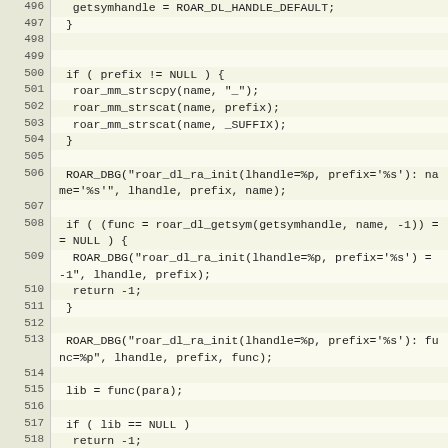[Figure (screenshot): Source code listing showing C code lines 496-525, with line numbers in a shaded left column and code in monospace font on a light yellow background.]